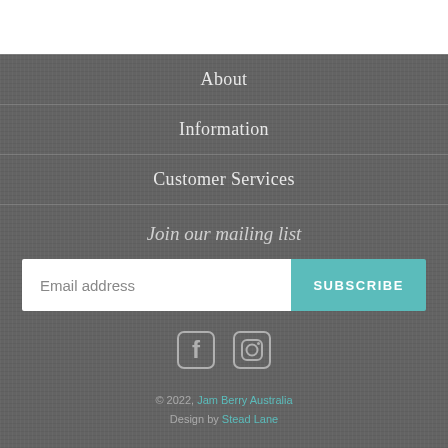About
Information
Customer Services
Join our mailing list
Email address
SUBSCRIBE
[Figure (illustration): Facebook and Instagram social media icons]
© 2022, Jam Berry Australia Design by Stead Lane